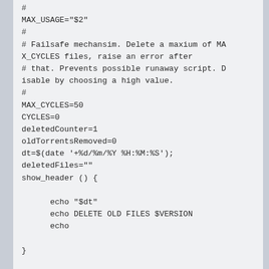#
MAX_USAGE="$2"
#
# Failsafe mechansim. Delete a maxium of MAX_CYCLES files, raise an error after
# that. Prevents possible runaway script. Disable by choosing a high value.
#
MAX_CYCLES=50
CYCLES=0
deletedCounter=1
oldTorrentsRemoved=0
dt=$(date '+%d/%m/%Y %H:%M:%S');
deletedFiles=""
show_header () {

      echo "$dt"
      echo DELETE OLD FILES $VERSION
      echo

}

show_header

reset () {